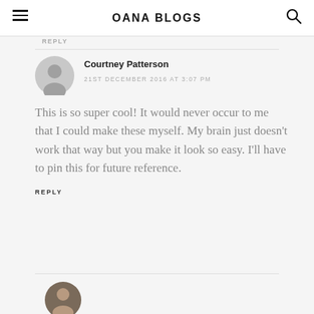OANA BLOGS
REPLY
Courtney Patterson
21ST DECEMBER 2016 AT 3:07 PM
This is so super cool! It would never occur to me that I could make these myself. My brain just doesn't work that way but you make it look so easy. I'll have to pin this for future reference.
REPLY